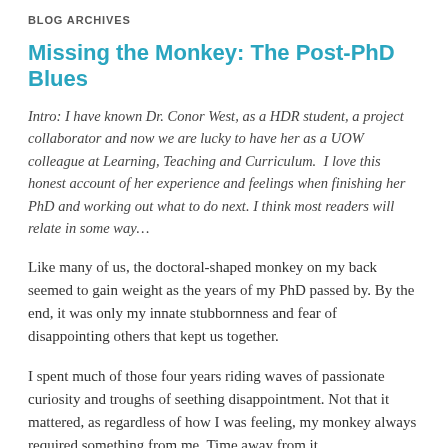BLOG ARCHIVES
Missing the Monkey: The Post-PhD Blues
Intro: I have known Dr. Conor West, as a HDR student, a project collaborator and now we are lucky to have her as a UOW colleague at Learning, Teaching and Curriculum.  I love this honest account of her experience and feelings when finishing her PhD and working out what to do next. I think most readers will relate in some way…
Like many of us, the doctoral-shaped monkey on my back seemed to gain weight as the years of my PhD passed by. By the end, it was only my innate stubbornness and fear of disappointing others that kept us together.
I spent much of those four years riding waves of passionate curiosity and troughs of seething disappointment. Not that it mattered, as regardless of how I was feeling, my monkey always required something from me. Time away from it